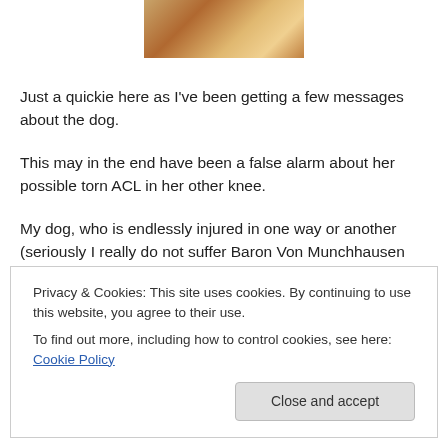[Figure (photo): Partial photo of a dog, showing legs and a colorful background, cropped at the top of the page.]
Just a quickie here as I've been getting a few messages about the dog.
This may in the end have been a false alarm about her possible torn ACL in her other knee.
My dog, who is endlessly injured in one way or another (seriously I really do not suffer Baron Von Munchhausen syndrome…) recently ate a bunch of foxtails. Well, I think
Privacy & Cookies: This site uses cookies. By continuing to use this website, you agree to their use.
To find out more, including how to control cookies, see here: Cookie Policy